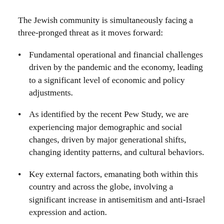The Jewish community is simultaneously facing a three-pronged threat as it moves forward:
Fundamental operational and financial challenges driven by the pandemic and the economy, leading to a significant level of economic and policy adjustments.
As identified by the recent Pew Study, we are experiencing major demographic and social changes, driven by major generational shifts, changing identity patterns, and cultural behaviors.
Key external factors, emanating both within this country and across the globe, involving a significant increase in antisemitism and anti-Israel expression and action.